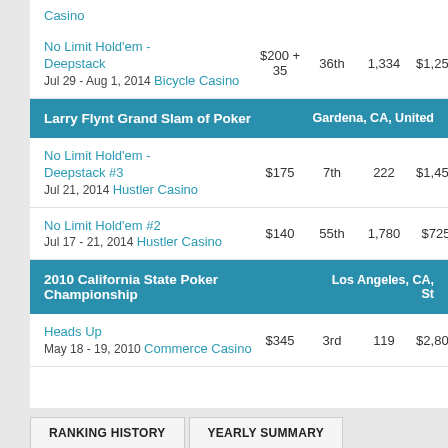Casino
| Event | Buy-in | Place | Entries | Winnings |  |
| --- | --- | --- | --- | --- | --- |
| No Limit Hold'em - Deepstack
Jul 29 - Aug 1, 2014
Bicycle Casino | $200 + 35 | 36th | 1,334 | $1,250 | — |
| Larry Flynt Grand Slam of Poker |  |  |  |  | Gardena, CA, United |
| No Limit Hold'em - Deepstack #3
Jul 21, 2014 Hustler Casino | $175 | 7th | 222 | $1,450 | — |
| No Limit Hold'em #2
Jul 17 - 21, 2014 Hustler Casino | $140 | 55th | 1,780 | $725 | — |
| 2010 California State Poker Championship |  |  |  |  | Los Angeles, CA, St |
| Heads Up
May 18 - 19, 2010
Commerce Casino | $345 | 3rd | 119 | $2,800 | — |
RANKING HISTORY
YEARLY SUMMARY